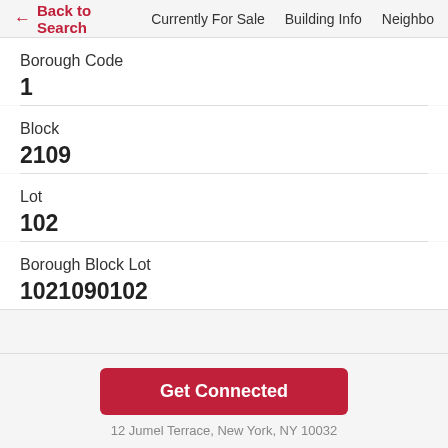← Back to Search   Currently For Sale   Building Info   Neighbo
Borough Code
1
Block
2109
Lot
102
Borough Block Lot
1021090102
Get Connected
12 Jumel Terrace, New York, NY 10032